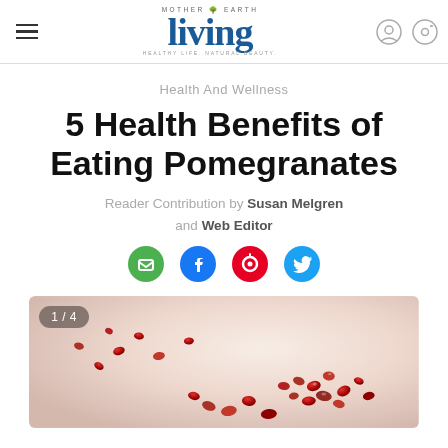Mother Earth Living — HEALTHY LIFE. NATURAL BEAUTY.
Health And Wellness
5 Health Benefits of Eating Pomegranates
Reader Contribution by Susan Melgren and Web Editor
[Figure (photo): Close-up photo of pomegranate seeds/arils scattered on a light surface, with a pile of red seeds in focus. Image counter badge shows 1 / 4.]